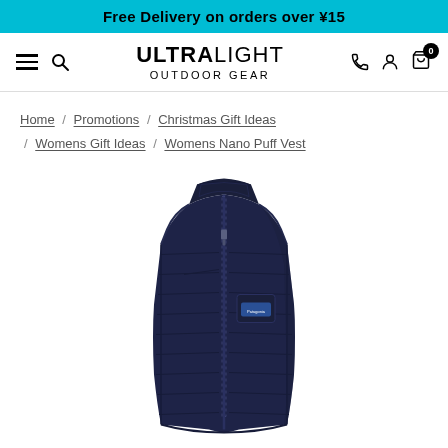Free Delivery on orders over ¥15
[Figure (logo): ULTRALIGHT OUTDOOR GEAR logo with navigation icons (hamburger menu, search, phone, user, cart with 0 badge)]
Home / Promotions / Christmas Gift Ideas / Womens Gift Ideas / Womens Nano Puff Vest
[Figure (photo): Navy blue Patagonia Womens Nano Puff Vest product photo on white background]